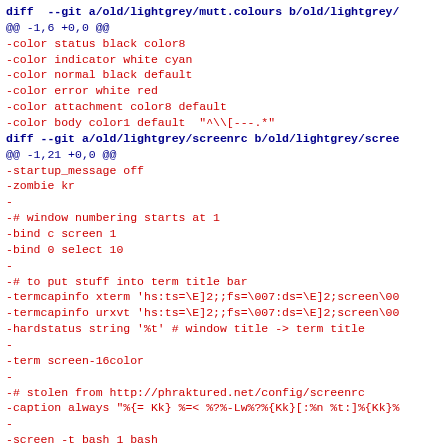diff --git a/old/lightgrey/mutt.colours b/old/lightgrey/...
@@ -1,6 +0,0 @@
-color status black color8
-color indicator white cyan
-color normal black default
-color error white red
-color attachment color8 default
-color body color1 default  "^\\[---.*"
diff --git a/old/lightgrey/screenrc b/old/lightgrey/scree
@@ -1,21 +0,0 @@
-startup_message off
-zombie kr
-
-# window numbering starts at 1
-bind c screen 1
-bind 0 select 10
-
-# to put stuff into term title bar
-termcapinfo xterm 'hs:ts=\E]2;;fs=\007:ds=\E]2;screen\00
-termcapinfo urxvt 'hs:ts=\E]2;;fs=\007:ds=\E]2;screen\00
-hardstatus string '%t' # window title -> term title
-
-term screen-16color
-
-# stolen from http://phraktured.net/config/screenrc
-caption always "%{= Kk} %=< %?%-Lw%?%{Kk}[:%n %t:]%{Kk}%
-
-screen -t bash 1 bash
-screen -t mail 9 mutt -y
-
- select 1